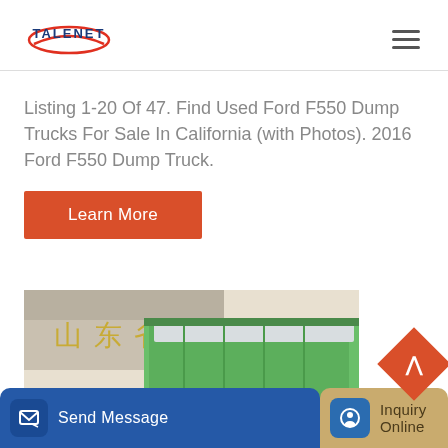[Figure (logo): Talenet company logo with red swoosh and blue text]
Listing 1-20 Of 47. Find Used Ford F550 Dump Trucks For Sale In California (with Photos). 2016 Ford F550 Dump Truck.
Learn More
[Figure (photo): Green dump truck bed with tarp visible in front of a building with Chinese characters]
Send Message
Inquiry Online